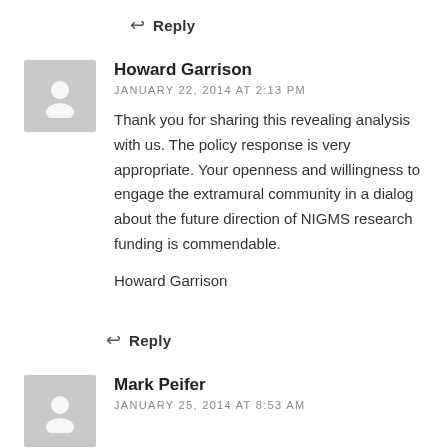↩ Reply
Howard Garrison
JANUARY 22, 2014 AT 2:13 PM
Thank you for sharing this revealing analysis with us. The policy response is very appropriate. Your openness and willingness to engage the extramural community in a dialog about the future direction of NIGMS research funding is commendable.

Howard Garrison
↩ Reply
Mark Peifer
JANUARY 25, 2014 AT 8:53 AM